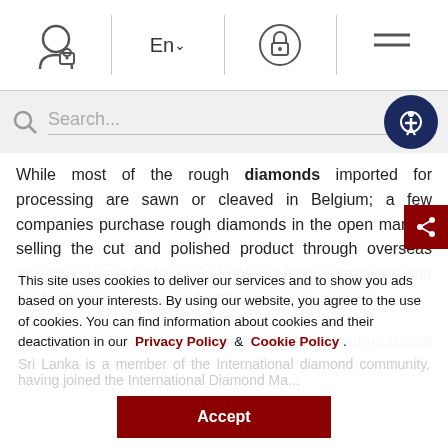Navigation bar with user icon, language selector (En), lock icon, and hamburger menu
[Figure (screenshot): Search bar with magnifying glass icon, placeholder text 'Search...', and accessibility button (person icon) on the right]
While most of the rough diamonds imported for processing are sawn or cleaved in Belgium; a few companies purchase rough diamonds in the open market, selling the cut and polished product through overseas affiliates. The industry in Sri Lanka is highly organised and the factories are equipped with modern equipment.
Sri Lanka is a member of the International Diamond Agreement, Manufacturing Association and a director of the Kimberley Process.
This site uses cookies to deliver our services and to show you ads based on your interests. By using our website, you agree to the use of cookies. You can find information about cookies and their deactivation in our Privacy Policy & Cookie Policy .